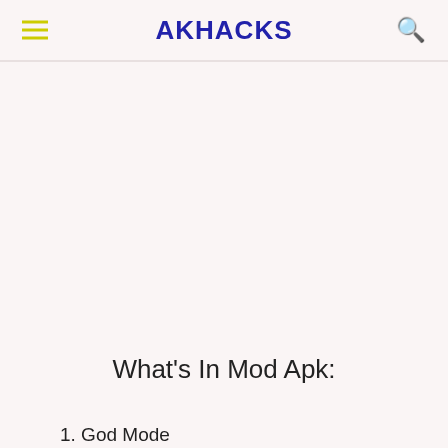AKHACKS
What's In Mod Apk:
1. God Mode
2. Massive Damage